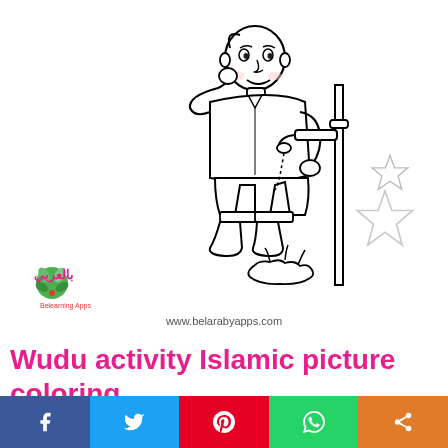[Figure (illustration): A black and white coloring page illustration of a young boy performing wudu (Islamic ablution) at a water tap/faucet on a stand, with water splashing on the ground. Two outline stars are visible in the upper right area of the illustration. The belarabyapps.com logo and URL are printed at the bottom of the illustration area.]
Wudu activity Islamic picture coloring